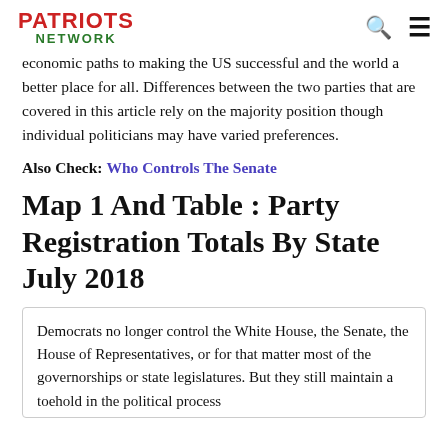PATRIOTS NETWORK
economic paths to making the US successful and the world a better place for all. Differences between the two parties that are covered in this article rely on the majority position though individual politicians may have varied preferences.
Also Check: Who Controls The Senate
Map 1 And Table : Party Registration Totals By State July 2018
Democrats no longer control the White House, the Senate, the House of Representatives, or for that matter most of the governorships or state legislatures. But they still maintain a toehold in the political process